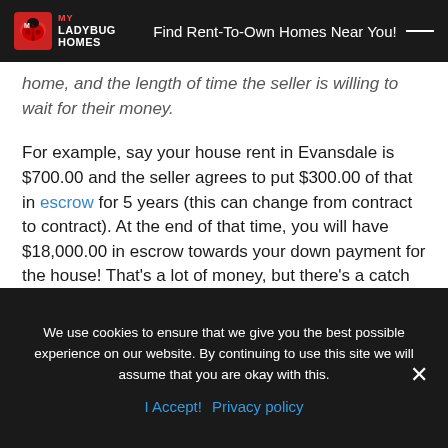MY LADYBUG HOMES — Find Rent-To-Own Homes Near You!
home, and the length of time the seller is willing to wait for their money.
For example, say your house rent in Evansdale is $700.00 and the seller agrees to put $300.00 of that in escrow for 5 years (this can change from contract to contract). At the end of that time, you will have $18,000.00 in escrow towards your down payment for the house! That's a lot of money, but there's a catch as you might have guessed. If you're late on any payments, the seller reserves the right to void the land contract and keep the money you have in
We use cookies to ensure that we give you the best possible experience on our website. By continuing to use this site we will assume that you are okay with this.
I Accept!  Privacy policy